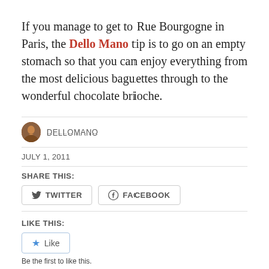If you manage to get to Rue Bourgogne in Paris, the Dello Mano tip is to go on an empty stomach so that you can enjoy everything from the most delicious baguettes through to the wonderful chocolate brioche.
DELLOMANO
JULY 1, 2011
SHARE THIS:
TWITTER
FACEBOOK
LIKE THIS:
Like
Be the first to like this.